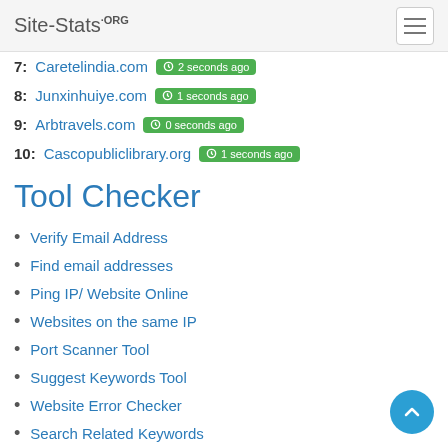Site-Stats.ORG
7: Caretelindia.com — 2 seconds ago
8: Junxinhuiye.com — 1 seconds ago
9: Arbtravels.com — 0 seconds ago
10: Cascopubliclibrary.org — 1 seconds ago
Tool Checker
Verify Email Address
Find email addresses
Ping IP/ Website Online
Websites on the same IP
Port Scanner Tool
Suggest Keywords Tool
Website Error Checker
Search Related Keywords